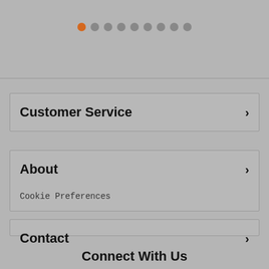[Figure (other): Pagination dots row with first dot highlighted in orange, followed by 8 grey dots]
Customer Service
About
Cookie Preferences
Contact
Connect With Us